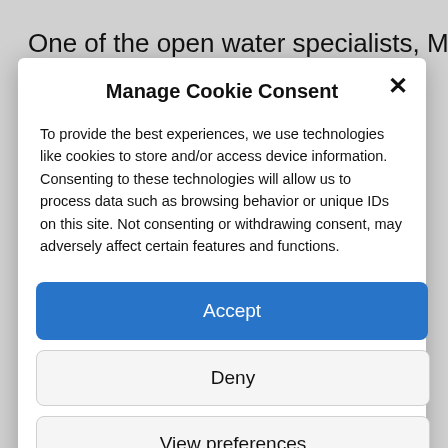One of the open water specialists, Marc-
Manage Cookie Consent
To provide the best experiences, we use technologies like cookies to store and/or access device information. Consenting to these technologies will allow us to process data such as browsing behavior or unique IDs on this site. Not consenting or withdrawing consent, may adversely affect certain features and functions.
Accept
Deny
View preferences